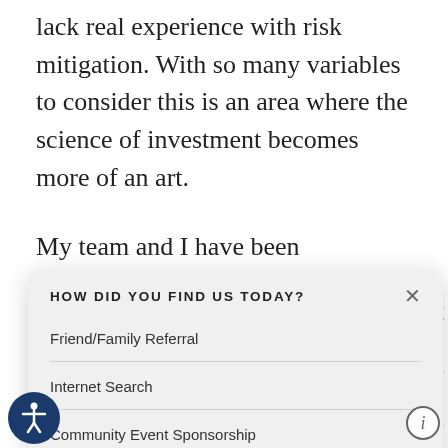lack real experience with risk mitigation. With so many variables to consider this is an area where the science of investment becomes more of an art.
My team and I have been developing our risk
[Figure (screenshot): A modal dialog overlaying the page content. The modal is titled 'HOW DID YOU FIND US TODAY?' with a close (×) button. It lists three options: 'Friend/Family Referral', 'Internet Search', 'Community Event Sponsorship'. At the bottom is a text input placeholder 'Other (please specify)' and a 'SUBMIT' button.]
[Figure (other): Accessibility icon button (circular, dark blue background, person with arms out symbol) at the bottom left.]
[Figure (other): Info icon (circle with italic i) at the bottom right.]